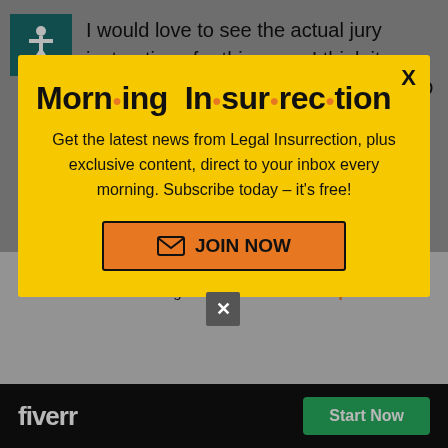I would love to see the actual jury instructions for this case. I think it would be interesting. I don't know if MD has standardized jury instructions or...
[Figure (screenshot): Modal popup with yellow background advertising 'Morning Insurrection' newsletter from Legal Insurrection with JOIN NOW button]
case. Such as how the Walker was checked for drugs alcohol? How to me
[Figure (logo): Fiverr advertisement bar with Fiverr logo and Start Now green button]